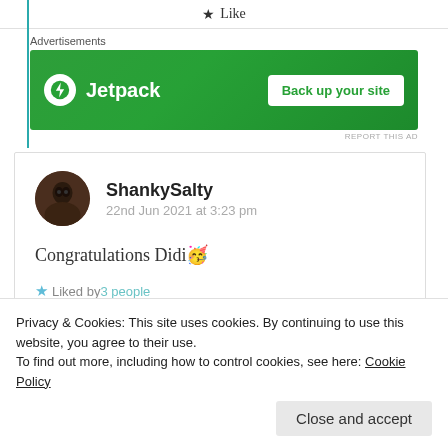★ Like
Advertisements
[Figure (screenshot): Jetpack advertisement banner with green background, Jetpack logo on left and 'Back up your site' button on right]
ShankySalty
22nd Jun 2021 at 3:23 pm

Congratulations Didi 🥳

★ Liked by 3 people
Privacy & Cookies: This site uses cookies. By continuing to use this website, you agree to their use.
To find out more, including how to control cookies, see here: Cookie Policy
Close and accept